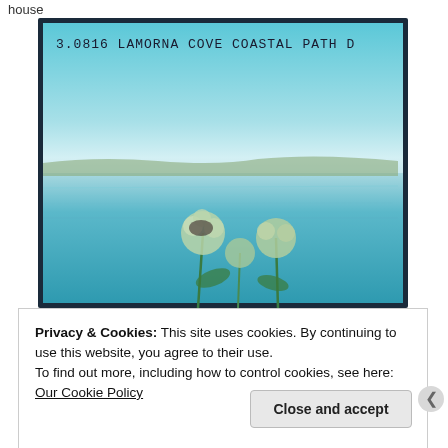house
[Figure (illustration): Watercolour painting titled '3.0816 LAMORNA COVE COASTAL PATH D' showing a coastal scene with blue sea and sky, distant cliffs or land, and wildflowers (hogweed/cow parsley) in the foreground at bottom.]
Privacy & Cookies: This site uses cookies. By continuing to use this website, you agree to their use.
To find out more, including how to control cookies, see here: Our Cookie Policy
Close and accept